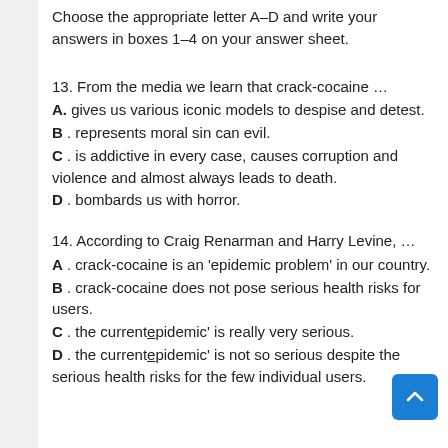Choose the appropriate letter A–D and write your answers in boxes 1–4 on your answer sheet.
13. From the media we learn that crack-cocaine …
A. gives us various iconic models to despise and detest.
B . represents moral sin can evil.
C . is addictive in every case, causes corruption and violence and almost always leads to death.
D . bombards us with horror.
14. According to Craig Renarman and Harry Levine, …
A . crack-cocaine is an 'epidemic problem' in our country.
B . crack-cocaine does not pose serious health risks for users.
C . the current epidemic' is really very serious.
D . the current epidemic' is not so serious despite the serious health risks for the few individual users.